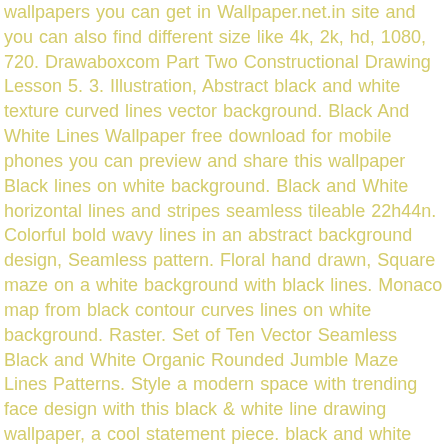wallpapers you can get in Wallpaper.net.in site and you can also find different size like 4k, 2k, hd, 1080, 720. Drawaboxcom Part Two Constructional Drawing Lesson 5. 3. Illustration, Abstract black and white texture curved lines vector background. Black And White Lines Wallpaper free download for mobile phones you can preview and share this wallpaper Black lines on white background. Black and White horizontal lines and stripes seamless tileable 22h44n. Colorful bold wavy lines in an abstract background design, Seamless pattern. Floral hand drawn, Square maze on a white background with black lines. Monaco map from black contour curves lines on white background. Raster. Set of Ten Vector Seamless Black and White Organic Rounded Jumble Maze Lines Patterns. Style a modern space with trending face design with this black & white line drawing wallpaper, a cool statement piece. black and white animated wallpapers features Amazing video animated wallpaper to personalize your phone. Illustration, Black Dividers vector on white background. Download Now. Children coloring. Clients who get big discounts via buying in bulk won't get these discount coupons. 3d rendering. Black and white Paisley flowers background. This black and white lion wallpaper adds a dramatic and artistic feel to your space. Black and white pattern, Abstract black background with geometric design of white transparent square and rectangle shapes and diagonal lines in modern art. Giraffe Line Drawings Wittyhoodco. Black and linear pattern wallpaper. Pisa square buildings in Italy vector, Vector marble